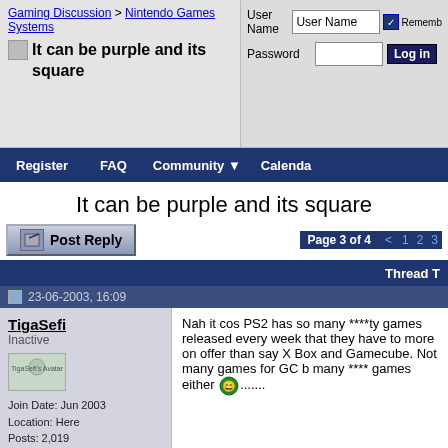Gaming Discussion > Nintendo Games Systems | It can be purple and its square
Register  FAQ  Community  Calendar
It can be purple and its square
Page 3 of 4
Thread T
23-06-2003, 16:09
TigaSefi
Inactive
Join Date: Jun 2003
Location: Here
Posts: 2,019
Nah it cos PS2 has so many ****ty games released every week that they have to more on offer than say X Box and Gamecube. Not many games for GC b many **** games either Ø.......
Advertisement
23-06-2003, 16:13
preacher
Inactive
Quote: